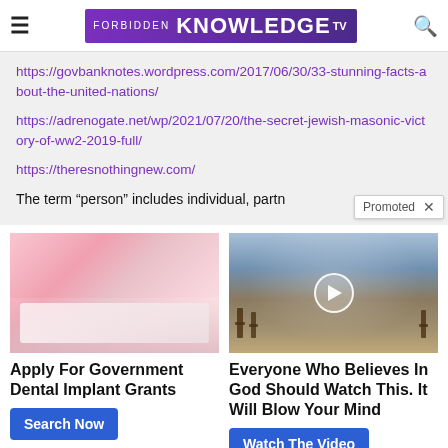FORBIDDEN KNOWLEDGE TV
https://govbanknotes.wordpress.com/2017/06/30/33-stunning-facts-about-the-united-nations/
https://adrenogate.net/wp/2021/07/20/the-secret-jewish-masonic-victory-of-ww2-2019-full/
https://theresnothingnew.com/
The term “person” includes individual, partn
[Figure (photo): Dental implant advertisement photo showing woman's teeth being worked on]
Apply For Government Dental Implant Grants
Search Now
[Figure (photo): Cemetery/graveyard video thumbnail with play button]
Everyone Who Believes In God Should Watch This. It Will Blow Your Mind
Watch The Video